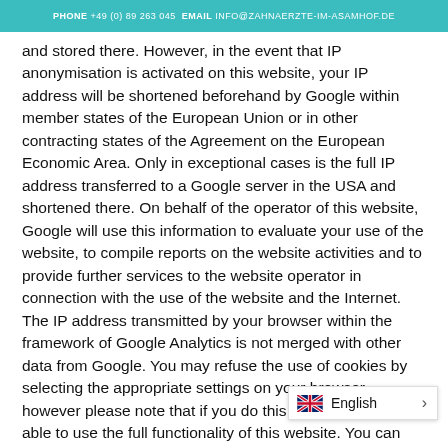PHONE +49 (0) 89 263 045 EMAIL INFO@ZAHNAERZTE-IM-ASAMHOF.DE
and stored there. However, in the event that IP anonymisation is activated on this website, your IP address will be shortened beforehand by Google within member states of the European Union or in other contracting states of the Agreement on the European Economic Area. Only in exceptional cases is the full IP address transferred to a Google server in the USA and shortened there. On behalf of the operator of this website, Google will use this information to evaluate your use of the website, to compile reports on the website activities and to provide further services to the website operator in connection with the use of the website and the Internet. The IP address transmitted by your browser within the framework of Google Analytics is not merged with other data from Google. You may refuse the use of cookies by selecting the appropriate settings on your browser, however please note that if you do this you may not be able to use the full functionality of this website. You can also prevent the collection of data generated by the cookie and related to your use of the (including your IP address) to Google and the process oogle